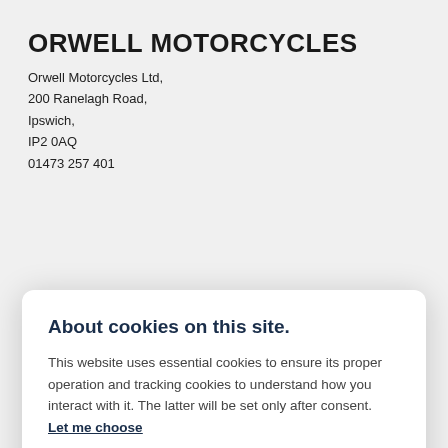ORWELL MOTORCYCLES
Orwell Motorcycles Ltd,
200 Ranelagh Road,
Ipswich,
IP2 0AQ
01473 257 401
About cookies on this site.
This website uses essential cookies to ensure its proper operation and tracking cookies to understand how you interact with it. The latter will be set only after consent.
Let me choose
Accept all
Reject all